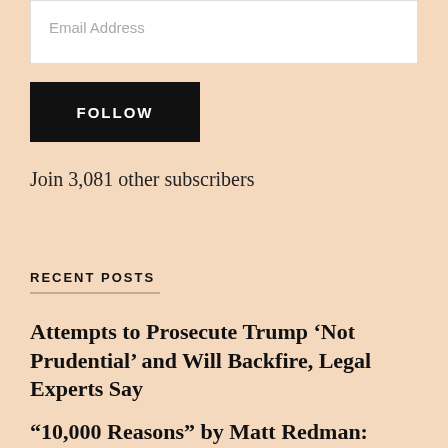Email Address
FOLLOW
Join 3,081 other subscribers
RECENT POSTS
Attempts to Prosecute Trump ‘Not Prudential’ and Will Backfire, Legal Experts Say
“10,000 Reasons” by Matt Redman: Video by